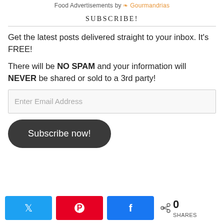Food Advertisements by Gourmandrias
SUBSCRIBE!
Get the latest posts delivered straight to your inbox. It's FREE!
There will be NO SPAM and your information will NEVER be shared or sold to a 3rd party!
[Figure (other): Email address input field with placeholder text 'Enter Email Address']
[Figure (other): Dark rounded button with text 'Subscribe now!']
[Figure (other): Social share buttons: Twitter (blue), Pinterest (red), Facebook (blue), and share count showing 0 SHARES]